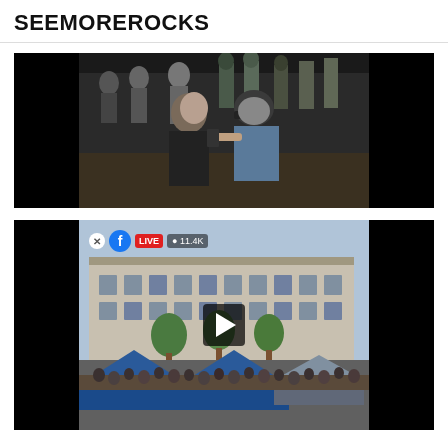SEEMOREROCKS
[Figure (screenshot): Embedded video screenshot showing a crowd scene with people, dark background on sides, street confrontation visible in center frame]
[Figure (screenshot): Facebook Live video screenshot showing a large outdoor gathering in front of a government building, blue tents, crowds of people, with Facebook Live overlay bar and play button visible]